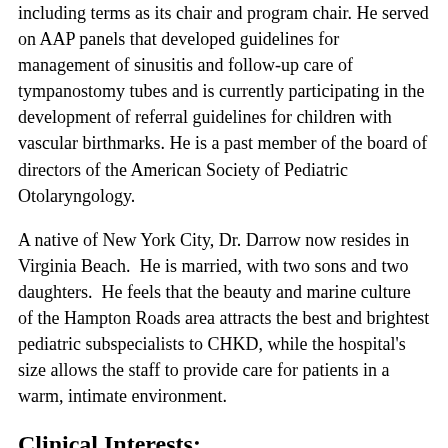including terms as its chair and program chair. He served on AAP panels that developed guidelines for management of sinusitis and follow-up care of tympanostomy tubes and is currently participating in the development of referral guidelines for children with vascular birthmarks. He is a past member of the board of directors of the American Society of Pediatric Otolaryngology.
A native of New York City, Dr. Darrow now resides in Virginia Beach. He is married, with two sons and two daughters. He feels that the beauty and marine culture of the Hampton Roads area attracts the best and brightest pediatric subspecialists to CHKD, while the hospital's size allows the staff to provide care for patients in a warm, intimate environment.
Clinical Interests:
Grading and staging of infantile hemangiomas